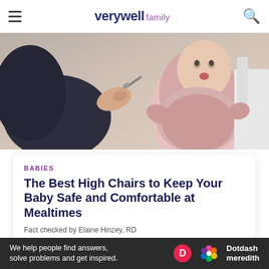verywell family
[Figure (photo): A parent feeding a baby in a high chair, baby wearing a pink outfit]
BABIES
The Best High Chairs to Keep Your Baby Safe and Comfortable at Mealtimes
Fact checked by Elaine Hinzey, RD
[Figure (photo): A woman with dark hair sitting in front of a dark leather couch, looking downward]
Ad
We help people find answers, solve problems and get inspired.  Dotdash meredith